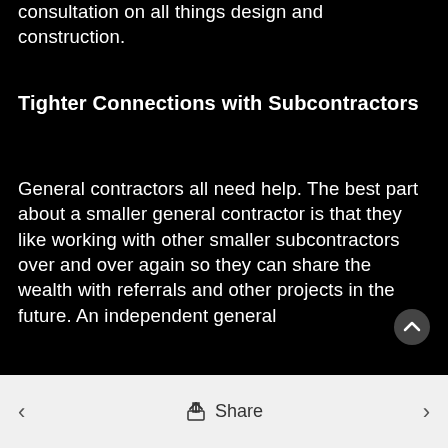consultation on all things design and construction.
Tighter Connections with Subcontractors
General contractors all need help. The best part about a smaller general contractor is that they like working with other smaller subcontractors over and over again so they can share the wealth with referrals and other projects in the future. An independent general
< Share >